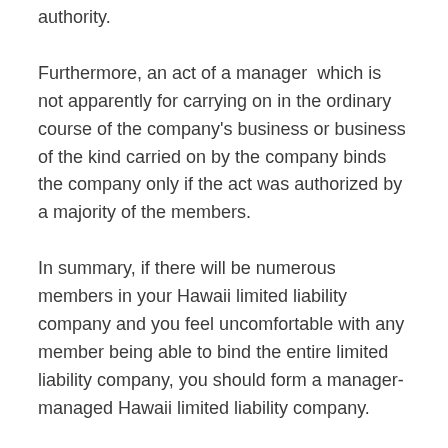authority.
Furthermore, an act of a manager  which is not apparently for carrying on in the ordinary course of the company's business or business of the kind carried on by the company binds the company only if the act was authorized by a majority of the members.
In summary, if there will be numerous members in your Hawaii limited liability company and you feel uncomfortable with any member being able to bind the entire limited liability company, you should form a manager-managed Hawaii limited liability company.